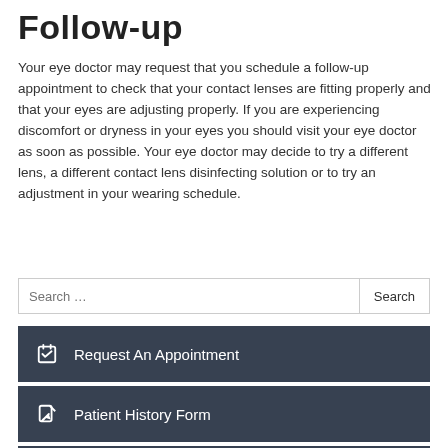Follow-up
Your eye doctor may request that you schedule a follow-up appointment to check that your contact lenses are fitting properly and that your eyes are adjusting properly. If you are experiencing discomfort or dryness in your eyes you should visit your eye doctor as soon as possible. Your eye doctor may decide to try a different lens, a different contact lens disinfecting solution or to try an adjustment in your wearing schedule.
Search ...
Request An Appointment
Patient History Form
Order Contacts Online